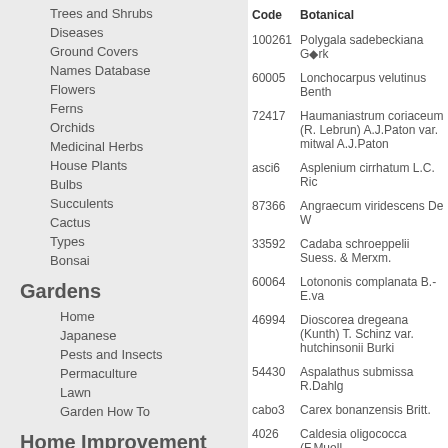Trees and Shrubs
Diseases
Ground Covers
Names Database
Flowers
Ferns
Orchids
Medicinal Herbs
House Plants
Bulbs
Succulents
Cactus
Types
Bonsai
Gardens
Home
Japanese
Pests and Insects
Permaculture
Lawn
Garden How To
Home Improvement
Interior Design
Decorating
House Improvement
Security
Finance
| Code | Botanical |
| --- | --- |
| 100261 | Polygala sadebeckiana Görk |
| 60005 | Lonchocarpus velutinus Benth |
| 72417 | Haumaniastrum coriaceum (R. Lebrun) A.J.Paton var. mitwal A.J.Paton |
| asci6 | Asplenium cirrhatum L.C. Ric |
| 87366 | Angraecum viridescens De W |
| 33592 | Cadaba schroeppelii Suess. & Merxm. |
| 60064 | Lotononis complanata B.-E.va |
| 46994 | Dioscorea dregeana (Kunth) T. Schinz var. hutchinsonii Burki |
| 54430 | Aspalathus submissa R.Dahlg |
| cabo3 | Carex bonanzensis Britt. |
| 4026 | Caldesia oligococca (F.Muell. |
| tier3 | Tillaea erecta Hook. & Arn. |
| cande3 | Candelariella Mull. Arg. |
| 72406 | Haumaniastrum bianense A. |